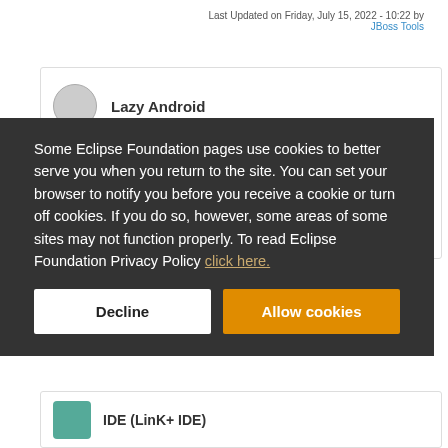Last Updated on Friday, July 15, 2022 - 10:22 by JBoss Tools
Lazy Android
Some Eclipse Foundation pages use cookies to better serve you when you return to the site. You can set your browser to notify you before you receive a cookie or turn off cookies. If you do so, however, some areas of some sites may not function properly. To read Eclipse Foundation Privacy Policy click here.
Decline
Allow cookies
IDE (LinK+ IDE)